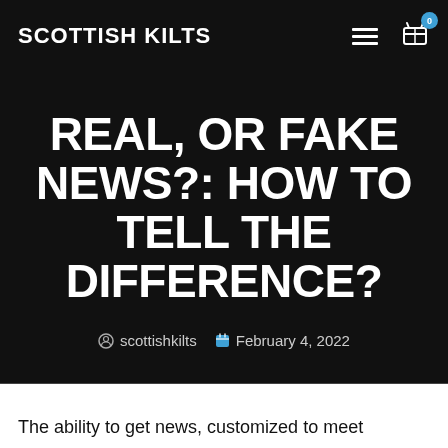SCOTTISH KILTS
REAL, OR FAKE NEWS?: HOW TO TELL THE DIFFERENCE?
scottishkilts   February 4, 2022
The ability to get news, customized to meet